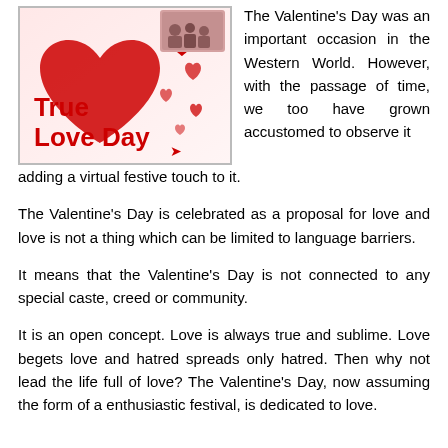[Figure (illustration): Valentine's Day themed image with red hearts and bold red text reading 'True Love Day' on a light pink/white background with a small group photo at the top.]
The Valentine's Day was an important occasion in the Western World. However, with the passage of time, we too have grown accustomed to observe it adding a virtual festive touch to it.
The Valentine's Day is celebrated as a proposal for love and love is not a thing which can be limited to language barriers.
It means that the Valentine's Day is not connected to any special caste, creed or community.
It is an open concept. Love is always true and sublime. Love begets love and hatred spreads only hatred. Then why not lead the life full of love? The Valentine's Day, now assuming the form of a enthusiastic festival, is dedicated to love.